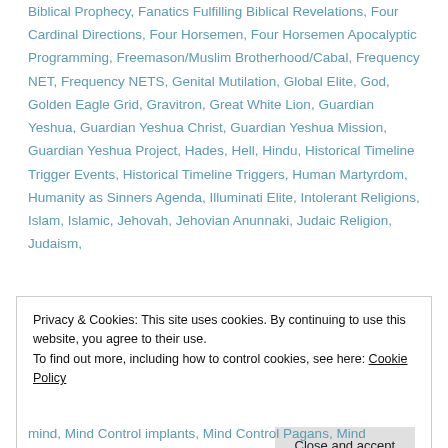Biblical Prophecy, Fanatics Fulfilling Biblical Revelations, Four Cardinal Directions, Four Horsemen, Four Horsemen Apocalyptic Programming, Freemason/Muslim Brotherhood/Cabal, Frequency NET, Frequency NETS, Genital Mutilation, Global Elite, God, Golden Eagle Grid, Gravitron, Great White Lion, Guardian Yeshua, Guardian Yeshua Christ, Guardian Yeshua Mission, Guardian Yeshua Project, Hades, Hell, Hindu, Historical Timeline Trigger Events, Historical Timeline Triggers, Human Martyrdom, Humanity as Sinners Agenda, Illuminati Elite, Intolerant Religions, Islam, Islamic, Jehovah, Jehovian Anunnaki, Judaic Religion, Judaism,
Privacy & Cookies: This site uses cookies. By continuing to use this website, you agree to their use.
To find out more, including how to control cookies, see here: Cookie Policy
Close and accept
mind, Mind Control implants, Mind Control Pagans, Mind